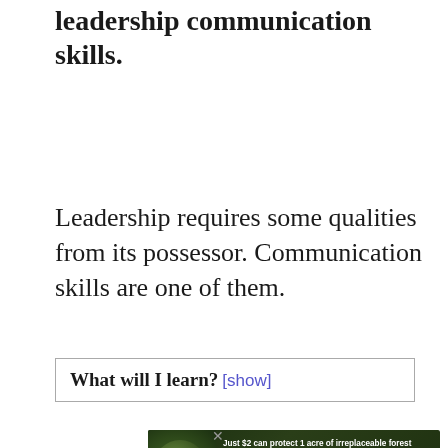leadership communication skills.
Leadership requires some qualities from its possessor. Communication skills are one of them.
What will I learn? [show]
[Figure (other): Advertisement banner: 'Just $2 can protect 1 acre of irreplaceable forest homes in the Amazon. How many acres are you willing to protect?' with a PROTECT FORESTS NOW button, forest background with animal image.]